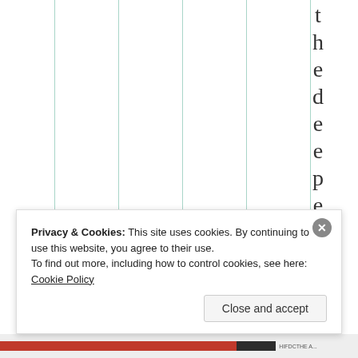[Figure (other): Partial view of a chart or table with vertical teal/green grid lines and vertically stacked letters spelling 'thedependo' on the right side]
Privacy & Cookies: This site uses cookies. By continuing to use this website, you agree to their use.
To find out more, including how to control cookies, see here: Cookie Policy
Close and accept